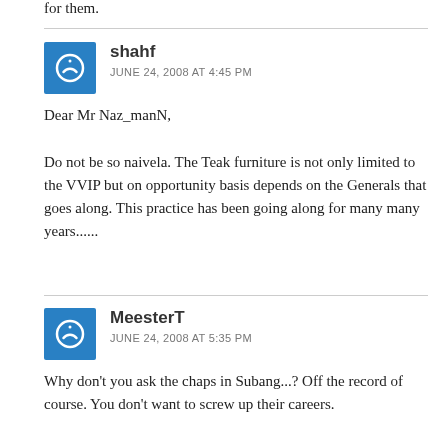for them.
shahf
JUNE 24, 2008 AT 4:45 PM
Dear Mr Naz_manN,

Do not be so naivela. The Teak furniture is not only limited to the VVIP but on opportunity basis depends on the Generals that goes along. This practice has been going along for many many years......
MeesterT
JUNE 24, 2008 AT 5:35 PM
Why don't you ask the chaps in Subang...? Off the record of course. You don't want to screw up their careers.